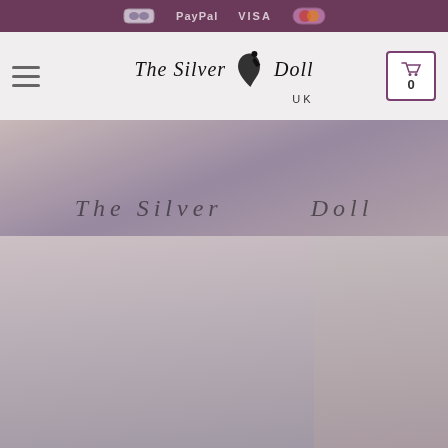Payment icons: PayPal, VISA, Mastercard
[Figure (logo): The Silver Doll UK website header with hamburger menu, script logo, and shopping cart showing 0 items]
[Figure (photo): Banner image with watermark text 'The Silver Doll' in italic script overlaid on a product photo]
[Figure (photo): Product photo showing a life-size doll with short blonde/brown hair in a room setting, partial view with right side cut off]